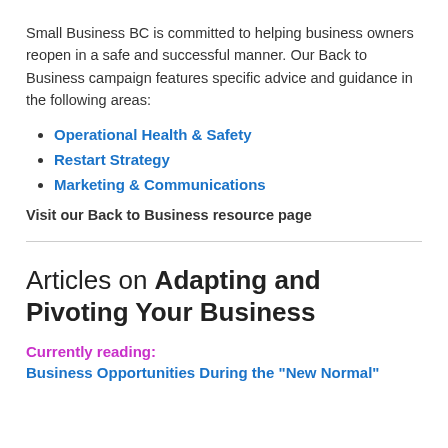Small Business BC is committed to helping business owners reopen in a safe and successful manner. Our Back to Business campaign features specific advice and guidance in the following areas:
Operational Health & Safety
Restart Strategy
Marketing & Communications
Visit our Back to Business resource page
Articles on Adapting and Pivoting Your Business
Currently reading:
Business Opportunities During the "New Normal"